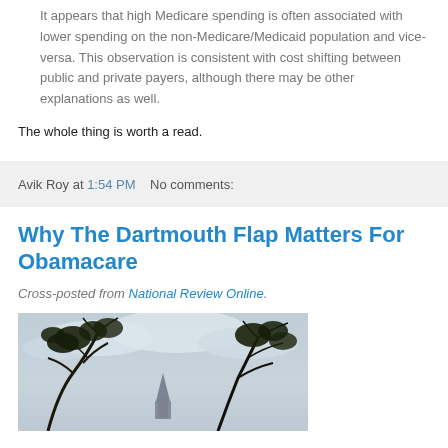It appears that high Medicare spending is often associated with lower spending on the non-Medicare/Medicaid population and vice-versa. This observation is consistent with cost shifting between public and private payers, although there may be other explanations as well.
The whole thing is worth a read.
Avik Roy at 1:54 PM    No comments:
Why The Dartmouth Flap Matters For Obamacare
Cross-posted from National Review Online.
[Figure (photo): Outdoor photo showing tree branches against a cloudy sky with a building spire visible in the background]